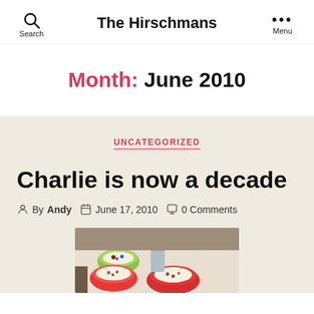The Hirschmans — Search | Menu
Month: June 2010
UNCATEGORIZED
Charlie is now a decade
By Andy  June 17, 2010  0 Comments
[Figure (photo): Photo of colorful bowls with food on a table]